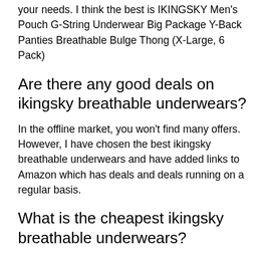your needs. I think the best is IKINGSKY Men's Pouch G-String Underwear Big Package Y-Back Panties Breathable Bulge Thong (X-Large, 6 Pack)
Are there any good deals on ikingsky breathable underwears?
In the offline market, you won't find many offers. However, I have chosen the best ikingsky breathable underwears and have added links to Amazon which has deals and deals running on a regular basis.
What is the cheapest ikingsky breathable underwears?